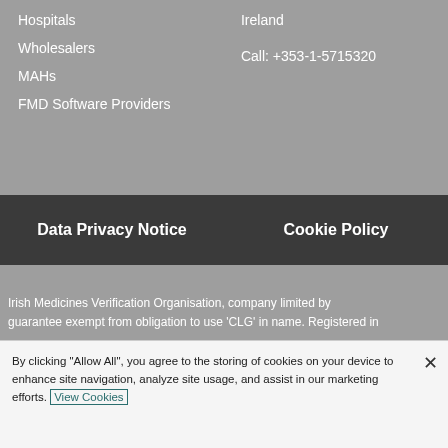Hospitals
Wholesalers
MAHs
FMD Software Providers
Ireland
Call: +353-1-5715320
Data Privacy Notice
Cookie Policy
Irish Medicines Verification Organisation, company limited by guarantee exempt from obligation to use 'CLG' in name. Registered in
By clicking "Allow All", you agree to the storing of cookies on your device to enhance site navigation, analyze site usage, and assist in our marketing efforts. View Cookies
Cookies Settings
Allow All